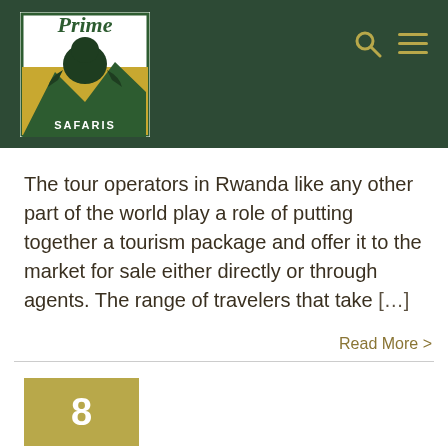[Figure (logo): Prime Safaris logo: green and yellow gorilla safari company logo with the text 'Prime' in large serif font and 'SAFARIS' below in a green box, with a gorilla silhouette against a yellow mountain landscape]
The tour operators in Rwanda like any other part of the world play a role of putting together a tourism package and offer it to the market for sale either directly or through agents. The range of travelers that take […]
Read More >
[Figure (other): Gold/olive colored badge showing the number 8 in white bold text]